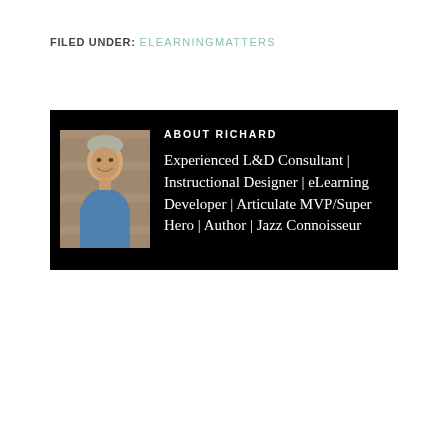FILED UNDER: ELEARNINGMATTERS
[Figure (other): Black box with photo of Richard (middle-aged man in blue shirt smiling) on left and bio text on right. Heading: ABOUT RICHARD. Bio: Experienced L&D Consultant | Instructional Designer | eLearning Developer | Articulate MVP/Super Hero | Author | Jazz Connoisseur]